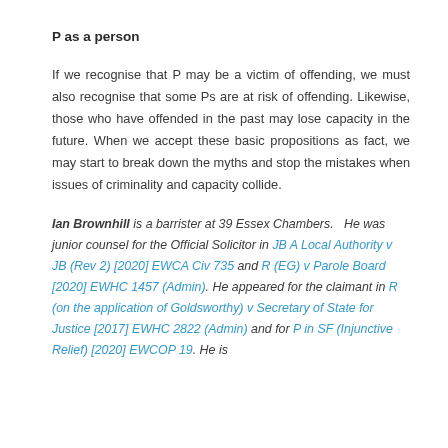P as a person
If we recognise that P may be a victim of offending, we must also recognise that some Ps are at risk of offending. Likewise, those who have offended in the past may lose capacity in the future. When we accept these basic propositions as fact, we may start to break down the myths and stop the mistakes when issues of criminality and capacity collide.
Ian Brownhill is a barrister at 39 Essex Chambers.   He was junior counsel for the Official Solicitor in JB A Local Authority v JB (Rev 2) [2020] EWCA Civ 735 and R (EG) v Parole Board [2020] EWHC 1457 (Admin). He appeared for the claimant in R (on the application of Goldsworthy) v Secretary of State for Justice [2017] EWHC 2822 (Admin) and for P in SF (Injunctive Relief) [2020] EWCOP 19. He is